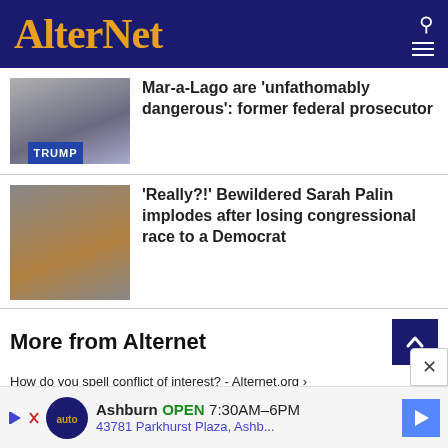AlterNet
Mar-a-Lago are 'unfathomably dangerous': former federal prosecutor
[Figure (photo): Man at Trump podium speaking]
'Really?!' Bewildered Sarah Palin implodes after losing congressional race to a Democrat
[Figure (photo): Sarah Palin speaking at event]
More from Alternet
How do you spell conflict of interest? - Alternet.org ›
'Fascists are at the gates': Government watchdog delivers dire ... ›
Ashburn  OPEN  7:30AM–6PM  43781 Parkhurst Plaza, Ashb...